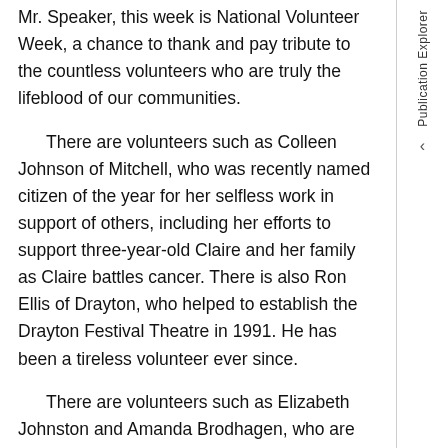Mr. Speaker, this week is National Volunteer Week, a chance to thank and pay tribute to the countless volunteers who are truly the lifeblood of our communities.
There are volunteers such as Colleen Johnson of Mitchell, who was recently named citizen of the year for her selfless work in support of others, including her efforts to support three-year-old Claire and her family as Claire battles cancer. There is also Ron Ellis of Drayton, who helped to establish the Drayton Festival Theatre in 1991. He has been a tireless volunteer ever since.
There are volunteers such as Elizabeth Johnston and Amanda Brodhagen, who are leading the way as women leaders in agriculture. We also have volunteers such as Gary West and Murray Schlotzhauer of Perth East, who have been involved with so many agricultural